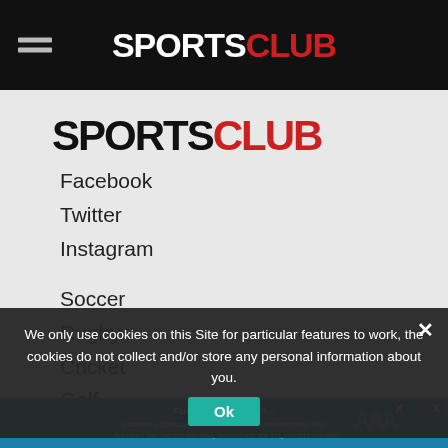SPORTS CLUB (navigation bar with logo)
[Figure (logo): SportsClub logo in body — SPORTS in black, CLUB in red, bold uppercase condensed font]
Facebook
Twitter
Instagram
Soccer
Rugby
Cricket
Golf
Videos
Magazine
We only use cookies on this Site for particular features to work, the cookies do not collect and/or store any personal information about you.
[Figure (screenshot): Advertisement banner at bottom with office supplies imagery and text FULL OFFICE SUPPLIES, Stationery, Consumables, Groceries, Notice/Whiteboard, Etc.]